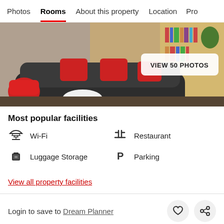Photos | Rooms | About this property | Location | Pro...
[Figure (photo): Hotel lounge area with dark curved sofa, red cushions and chairs, bookshelf in background. Button: VIEW 50 PHOTOS]
Most popular facilities
Wi-Fi
Restaurant
Luggage Storage
Parking
View all property facilities
Login to save to Dream Planner
[Figure (map): Street map showing 2nd Ring S Rd, Xishi S Rd, Taoyuan S Rd intersections]